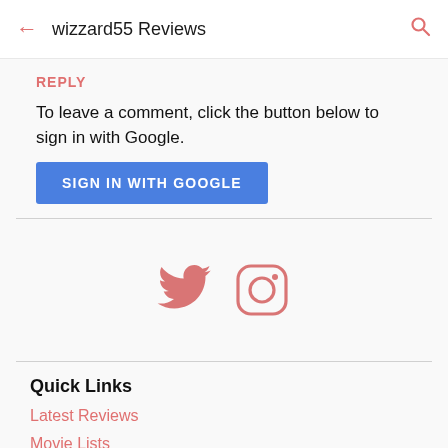wizzard55 Reviews
REPLY
To leave a comment, click the button below to sign in with Google.
SIGN IN WITH GOOGLE
[Figure (illustration): Twitter bird icon and Instagram camera icon in salmon/coral color]
Quick Links
Latest Reviews
Movie Lists
About